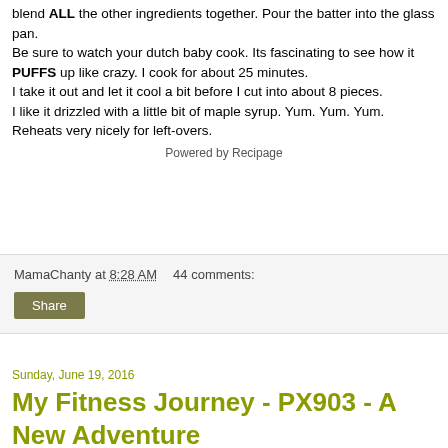blend ALL the other ingredients together. Pour the batter into the glass pan.
Be sure to watch your dutch baby cook. Its fascinating to see how it PUFFS up like crazy. I cook for about 25 minutes.
I take it out and let it cool a bit before I cut into about 8 pieces.
I like it drizzled with a little bit of maple syrup. Yum. Yum. Yum.
Reheats very nicely for left-overs.
Powered by Recipage
MamaChanty at 8:28 AM   44 comments:
Share
Sunday, June 19, 2016
My Fitness Journey - PX903 - A New Adventure